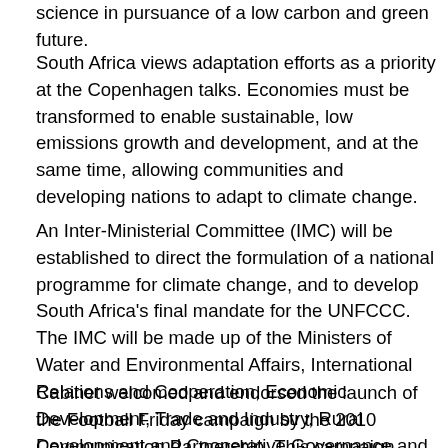science in pursuance of a low carbon and green future.
South Africa views adaptation efforts as a priority at the Copenhagen talks. Economies must be transformed to enable sustainable, low emissions growth and development, and at the same time, allowing communities and developing nations to adapt to climate change.
An Inter-Ministerial Committee (IMC) will be established to direct the formulation of a national programme for climate change, and to develop South Africa's final mandate for the UNFCCC. The IMC will be made up of the Ministers of Water and Environmental Affairs, International Relations and Cooperation, Economic Development, Trade and Industry, Rural Development and Cooperative Governance and Traditional Affairs. Government will also interact with other developing nations and the social partners to ensure that the final mandate incorporates the development agenda of alleviating poverty and economic growth.
Cabinet welcomed and endorsed the launch of the Football Friday campaign by the 2010 Communication Partnership. This campaign seeks to raise awareness about the hosting of the 2010 FIFA World